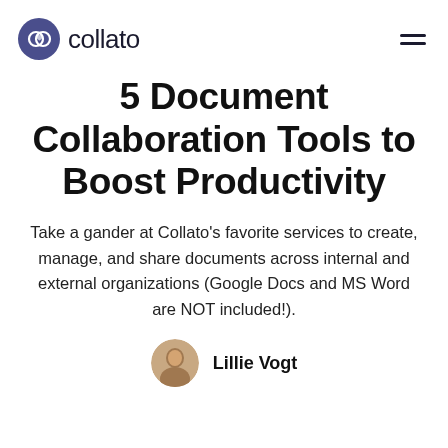collato
5 Document Collaboration Tools to Boost Productivity
Take a gander at Collato's favorite services to create, manage, and share documents across internal and external organizations (Google Docs and MS Word are NOT included!).
Lillie Vogt